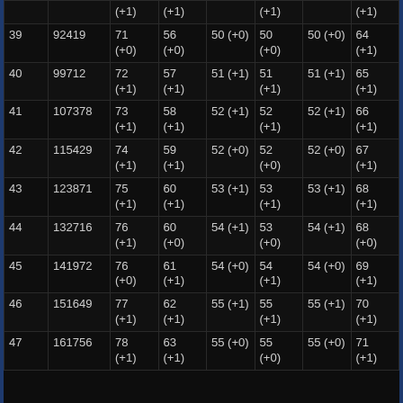|  |  | (+1) | (+1) |  | (+1) |  | (+1) |
| --- | --- | --- | --- | --- | --- | --- | --- |
| 39 | 92419 | 71
(+0) | 56
(+0) | 50 (+0) | 50
(+0) | 50 (+0) | 64
(+1) |
| 40 | 99712 | 72
(+1) | 57
(+1) | 51 (+1) | 51
(+1) | 51 (+1) | 65
(+1) |
| 41 | 107378 | 73
(+1) | 58
(+1) | 52 (+1) | 52
(+1) | 52 (+1) | 66
(+1) |
| 42 | 115429 | 74
(+1) | 59
(+1) | 52 (+0) | 52
(+0) | 52 (+0) | 67
(+1) |
| 43 | 123871 | 75
(+1) | 60
(+1) | 53 (+1) | 53
(+1) | 53 (+1) | 68
(+1) |
| 44 | 132716 | 76
(+1) | 60
(+0) | 54 (+1) | 53
(+0) | 54 (+1) | 68
(+0) |
| 45 | 141972 | 76
(+0) | 61
(+1) | 54 (+0) | 54
(+1) | 54 (+0) | 69
(+1) |
| 46 | 151649 | 77
(+1) | 62
(+1) | 55 (+1) | 55
(+1) | 55 (+1) | 70
(+1) |
| 47 | 161756 | 78
(+1) | 63
(+1) | 55 (+0) | 55
(+0) | 55 (+0) | 71
(+1) |